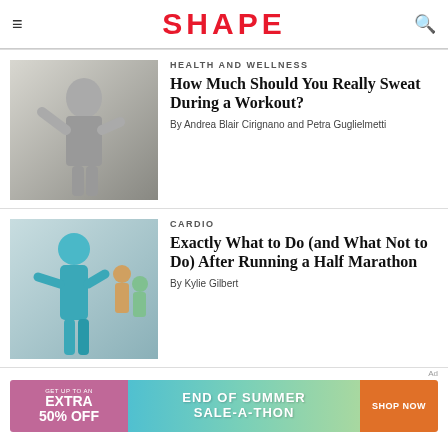SHAPE
HEALTH AND WELLNESS
How Much Should You Really Sweat During a Workout?
By Andrea Blair Cirignano and Petra Guglielmetti
CARDIO
Exactly What to Do (and What Not to Do) After Running a Half Marathon
By Kylie Gilbert
Ad
[Figure (infographic): Advertisement banner: GET UP TO AN EXTRA 50% OFF | END OF SUMMER SALE-A-THON | SHOP NOW]